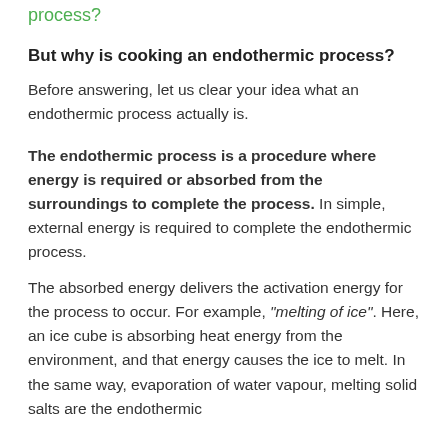process?
But why is cooking an endothermic process?
Before answering, let us clear your idea what an endothermic process actually is.
The endothermic process is a procedure where energy is required or absorbed from the surroundings to complete the process. In simple, external energy is required to complete the endothermic process.
The absorbed energy delivers the activation energy for the process to occur. For example, “melting of ice”. Here, an ice cube is absorbing heat energy from the environment, and that energy causes the ice to melt. In the same way, evaporation of water vapour, melting solid salts are the endothermic